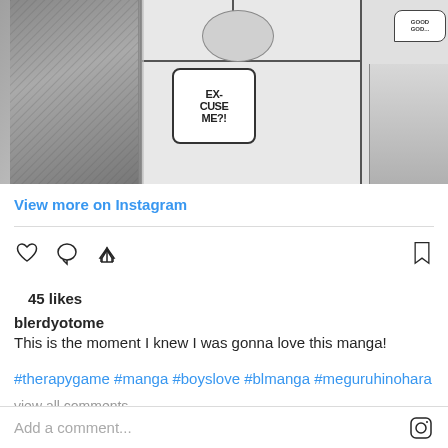[Figure (photo): Open manga book spread showing black and white panels with speech bubbles including 'EX-CUSE ME?!' and 'GOOD GOD...']
View more on Instagram
45 likes
blerdyotome
This is the moment I knew I was gonna love this manga!
#therapygame #manga #boyslove #blmanga #meguruhinohara
view all comments
Add a comment...